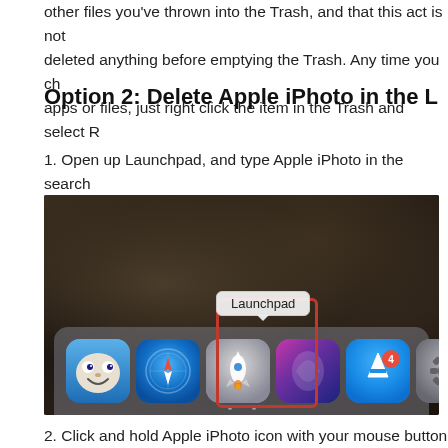other files you've thrown into the Trash, and that this act is not deleted anything before emptying the Trash. Any time you change your apps or files, just right click the item in the Trash and select R
Option 2: Delete Apple iPhoto in the L
1. Open up Launchpad, and type Apple iPhoto in the search
[Figure (screenshot): macOS desktop screenshot showing the Dock with a red rectangle highlighting the Launchpad icon (rocket ship). A tooltip bubble reading 'Launchpad' appears above it. Visible dock icons include Finder, Safari, Launchpad, Siri, App Store, and System Preferences.]
2. Click and hold Apple iPhoto icon with your mouse button